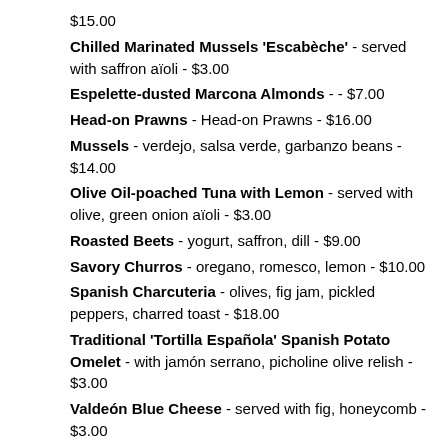$15.00
Chilled Marinated Mussels 'Escabèche' - served with saffron aïoli - $3.00
Espelette-dusted Marcona Almonds - - $7.00
Head-on Prawns - Head-on Prawns - $16.00
Mussels - verdejo, salsa verde, garbanzo beans - $14.00
Olive Oil-poached Tuna with Lemon - served with olive, green onion aïoli - $3.00
Roasted Beets - yogurt, saffron, dill - $9.00
Savory Churros - oregano, romesco, lemon - $10.00
Spanish Charcuteria - olives, fig jam, pickled peppers, charred toast - $18.00
Traditional 'Tortilla Española' Spanish Potato Omelet - with jamón serrano, picholine olive relish - $3.00
Valdeón Blue Cheese - served with fig, honeycomb - $3.00
Drinks
Alla Prima Manhattan - Elijah Craig 94 Proof Kentucky Straight Bourbon, Amaro Nonino Quintessentia, La Copa by González Byass Sweet Vermouth, Maple Syrup